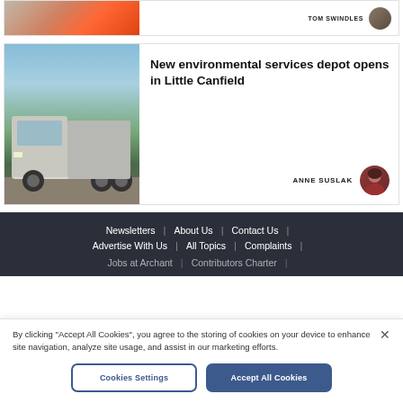[Figure (photo): Partial view of top article card with traffic cones image and author avatar on right]
[Figure (photo): White refuse/garbage truck parked in a depot yard with trees and cloudy sky in background]
New environmental services depot opens in Little Canfield
ANNE SUSLAK
Newsletters | About Us | Contact Us | Advertise With Us | All Topics | Complaints | Jobs at Archant | Contributors Charter |
By clicking "Accept All Cookies", you agree to the storing of cookies on your device to enhance site navigation, analyze site usage, and assist in our marketing efforts.